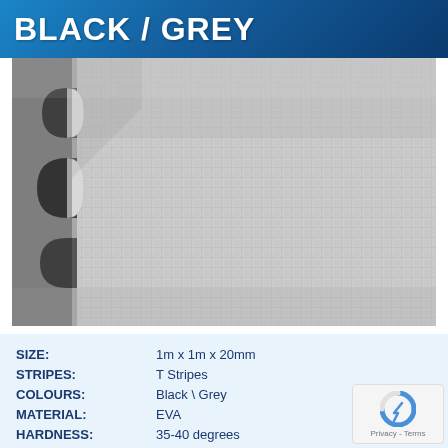BLACK / GREY
[Figure (photo): Close-up photo of a grey EVA foam interlocking mat tile with textured surface, showing puzzle-piece interlocking edges with black pieces on the left side]
| SIZE: | 1m x 1m x 20mm |
| STRIPES: | T Stripes |
| COLOURS: | Black \ Grey |
| MATERIAL: | EVA |
| HARDNESS: | 35-40 degrees |
| THICKNESS: | 20mm |
| WEIGHT: | 1.85kg |